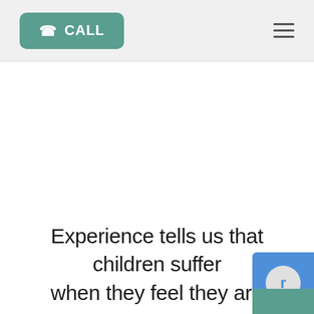CALL
Experience tells us that children suffer when they feel they are